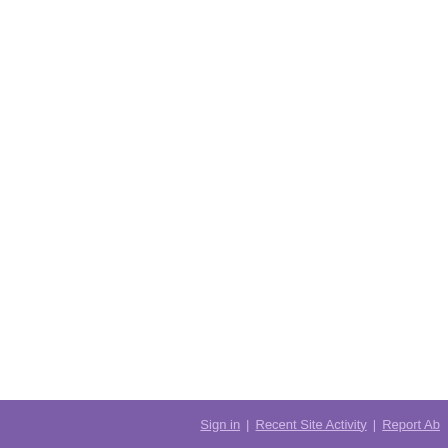During the meeting, Superintendent discussed his administration and his vision for the district, highlighting progress within the first six months.
Community input is encouraged.
For questions, contact Bright Futures.
Comments
Sign in | Recent Site Activity | Report Abuse